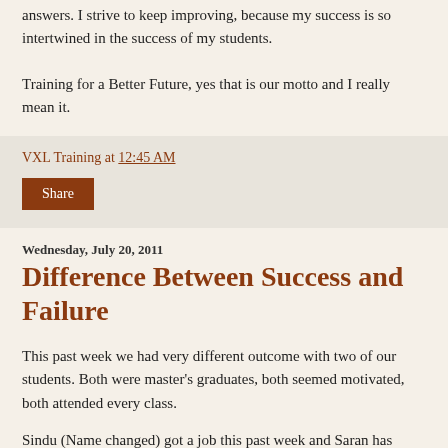answers.  I strive to keep improving, because my success is so intertwined in the success of my students.
Training for a Better Future, yes that is our motto and I really mean it.
VXL Training at 12:45 AM
Share
Wednesday, July 20, 2011
Difference Between Success and Failure
This past week we had very different outcome with two of our students.  Both were master's graduates, both seemed motivated, both attended every class.
Sindu (Name changed) got a job this past week and Saran has given up completely and is going back into his original field of